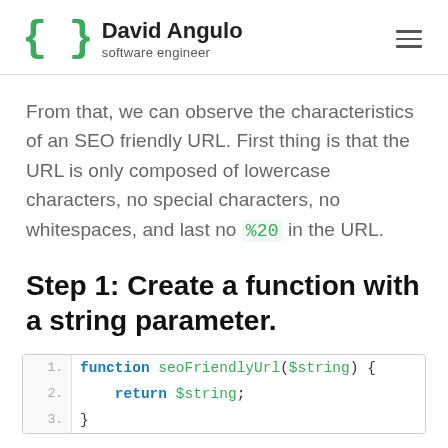David Angulo — software engineer
From that, we can observe the characteristics of an SEO friendly URL. First thing is that the URL is only composed of lowercase characters, no special characters, no whitespaces, and last no %20 in the URL.
Step 1: Create a function with a string parameter.
|  | code |
| --- | --- |
| 1. | function seoFriendlyUrl($string) { |
| 2. |     return $string; |
| 3. | } |